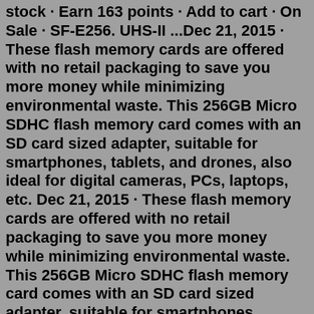stock · Earn 163 points · Add to cart · On Sale · SF-E256. UHS-II ...Dec 21, 2015 · These flash memory cards are offered with no retail packaging to save you more money while minimizing environmental waste. This 256GB Micro SDHC flash memory card comes with an SD card sized adapter, suitable for smartphones, tablets, and drones, also ideal for digital cameras, PCs, laptops, etc. Dec 21, 2015 · These flash memory cards are offered with no retail packaging to save you more money while minimizing environmental waste. This 256GB Micro SDHC flash memory card comes with an SD card sized adapter, suitable for smartphones, tablets, and drones, also ideal for digital cameras, PCs, laptops, etc. 256GB (128GB x 2) 512MB 256MB 128MB Show More Type Secure Digital (SD) Secure Digital High-Capacity (SDHC) SDHC Plus USB Secure Digital Extended Capacity (SDXC) MicroSD microSDXC microSDHC MiniSD Mini SDHC Wireless Flash Memory Compact Flash (CF) CFast CFExpress Memory Stick (MS) Memory Stick Duo (MS Duo) Memory Stick